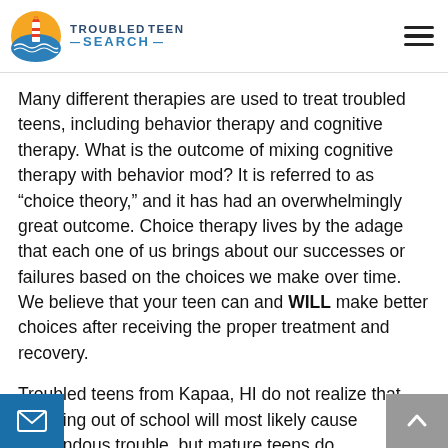TROUBLED TEEN SEARCH
Many different therapies are used to treat troubled teens, including behavior therapy and cognitive therapy. What is the outcome of mixing cognitive therapy with behavior mod? It is referred to as “choice theory,” and it has had an overwhelmingly great outcome. Choice therapy lives by the adage that each one of us brings about our successes or failures based on the choices we make over time. We believe that your teen can and WILL make better choices after receiving the proper treatment and recovery.
Troubled teens from Kapaa, HI do not realize that dropping out of school will most likely cause tremendous trouble, but mature teens do understand. Troubled teens cannot see that their choice to give up on school will lead to other bad